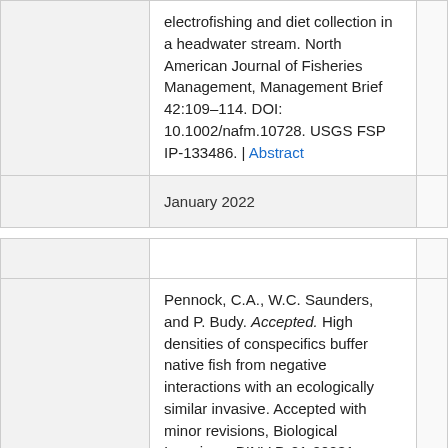electrofishing and diet collection in a headwater stream. North American Journal of Fisheries Management, Management Brief 42:109–114. DOI: 10.1002/nafm.10728. USGS FSP IP-133486. | Abstract
January 2022
Pennock, C.A., W.C. Saunders, and P. Budy. Accepted. High densities of conspecifics buffer native fish from negative interactions with an ecologically similar invasive. Accepted with minor revisions, Biological Invasions, BINV-D-21-00231. USGS FSP IP-130496. | Download
January 2022